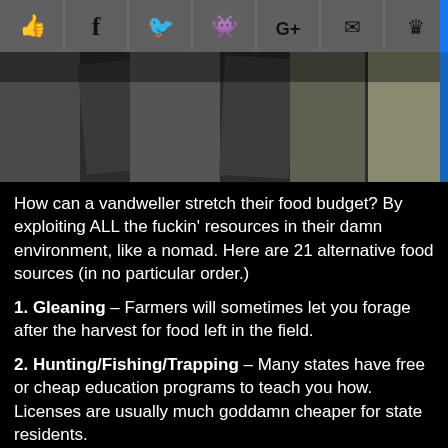[Figure (screenshot): Social media share toolbar with icons: thumbs up, Facebook, Twitter, Reddit, Google+, email/envelope, crown/bookmark. Dark gray background.]
[Figure (photo): Partial photo of wooden planks or boards, dark and weathered, gray tones.]
How can a vandweller stretch their food budget? By exploiting ALL the fuckin' resources in their damn environment, like a nomad. Here are 21 alternative food sources (in no particular order.)
1. Gleaning – Farmers will sometimes let you forage after the harvest for food left in the field.
2. Hunting/Fishing/Trapping – Many states have free or cheap education programs to teach you how. Licenses are usually much goddamn cheaper for state residents.
?? #Vanlife question? Contact Vanholio! direct !!